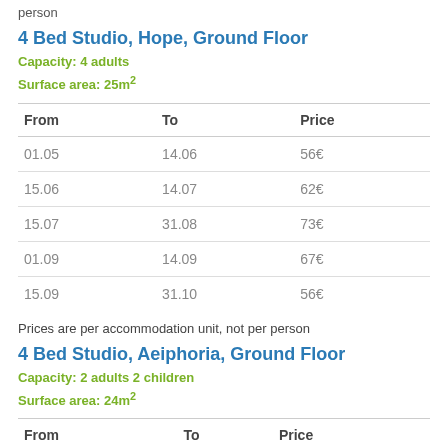person
4 Bed Studio, Hope, Ground Floor
Capacity: 4 adults
Surface area: 25m²
| From | To | Price |
| --- | --- | --- |
| 01.05 | 14.06 | 56€ |
| 15.06 | 14.07 | 62€ |
| 15.07 | 31.08 | 73€ |
| 01.09 | 14.09 | 67€ |
| 15.09 | 31.10 | 56€ |
Prices are per accommodation unit, not per person
4 Bed Studio, Aeiphoria, Ground Floor
Capacity: 2 adults 2 children
Surface area: 24m²
| From | To | Price |
| --- | --- | --- |